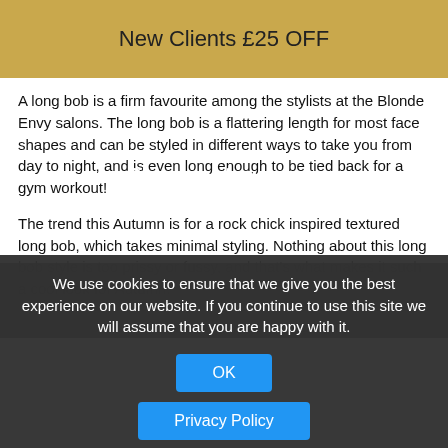New Clients £25 OFF
A long bob is a firm favourite among the stylists at the Blonde Envy salons. The long bob is a flattering length for most face shapes and can be styled in different ways to take you from day to night, and is even long enough to be tied back for a gym workout!
The trend this Autumn is for a rock chick inspired textured long bob, which takes minimal styling. Nothing about this long bob style is too prissy or fussy, and that's what makes it such a cool look for Autumn.
Check out our new online booking app!
We use cookies to ensure that we give you the best experience on our website. If you continue to use this site we will assume that you are happy with it.
OK
Privacy Policy